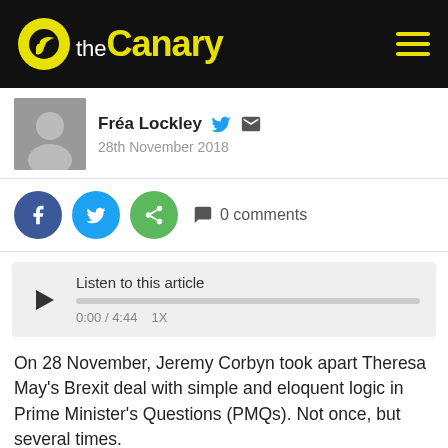the Canary
Fréa Lockley  28th November 2018
[Figure (other): Social share buttons: Facebook, Twitter, Share, and comment count 0 comments]
[Figure (other): Audio player: Listen to this article, 0:00 / 4:44, 1X speed]
On 28 November, Jeremy Corbyn took apart Theresa May's Brexit deal with simple and eloquent logic in Prime Minister's Questions (PMQs). Not once, but several times.
“The only deal”
No matter how many times May repeats that her deal “is the best deal” as Corbyn pointed out, this reveals a simple truth: